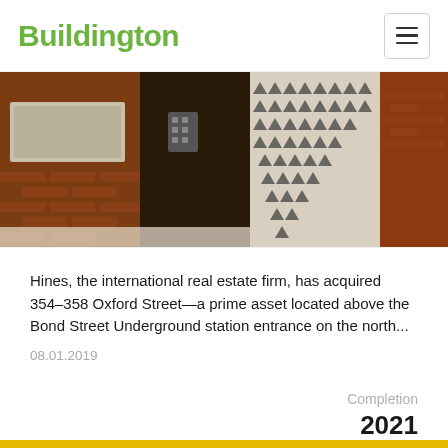Buildington
[Figure (photo): Exterior photo of 354-358 Oxford Street building entrance with brick facade, decorative door panels with triangle patterns, and an intercom panel]
Hines, the international real estate firm, has acquired 354–358 Oxford Street—a prime asset located above the Bond Street Underground station entrance on the north...
08.01.2019
Completion
2021